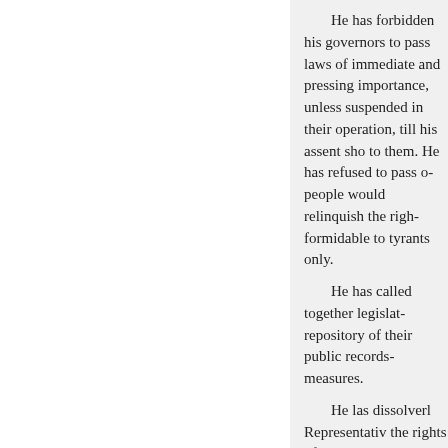He has forbidden his governors to pass laws of immediate and pressing importance, unless suspended in their operation, till his assent should be obtained; and when so suspended, he has utterly neglected to attend to them. He has refused to pass other laws for the accommodation of large districts of people, unless those people would relinquish the right of representation in the legislature, a right inestimable to them and formidable to tyrants only.
He has called together legislative bodies at places unusual, uncomfortable, and distant from the repository of their public records, for the sole purpose of fatiguing them into compliance with his measures.
He las dissolverl Representative Houses repeatedly, for opposing with manly firmness his invasions on the rights of the people.
He has refused, for a long time, after such dissolutions, to cause others to be elected; whereby the legislative powers, incapable of annihilation, have returned to the people at large for their exercise; the state remaining, in the mean time, exposed to all the dangers of invasion from without, and convulsions within.
Ile has endeavored to prevent the population of these states; for that purpose obstructing the laws for naturalization of foreigners ; refusing to pass others to encourage their migrations hither, and raising the conditions of new appropriations of lands.
Ile has obstructed the administration of justice, by refusing his assent to laws for establishing judiciary powers.
Ile has made judges dependent on his will alone, for the tenure of their offices, and the amount and payment of their salaries.